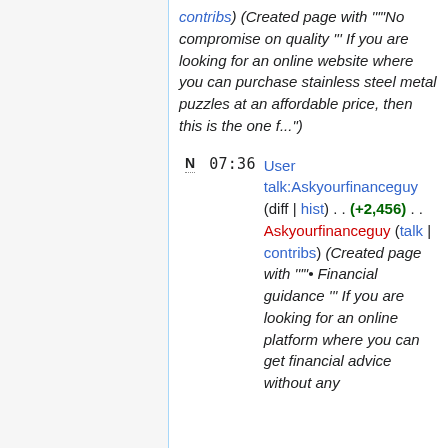contribs) (Created page with """No compromise on quality  ''' If you are looking for an online website where you can purchase stainless steel metal puzzles at an affordable price, then this is the one f...")
N  07:36  User talk:Askyourfinanceguy (diff | hist) . . (+2,456) . . Askyourfinanceguy (talk | contribs) (Created page with """• Financial guidance ''' If you are looking for an online platform where you can get financial advice without any